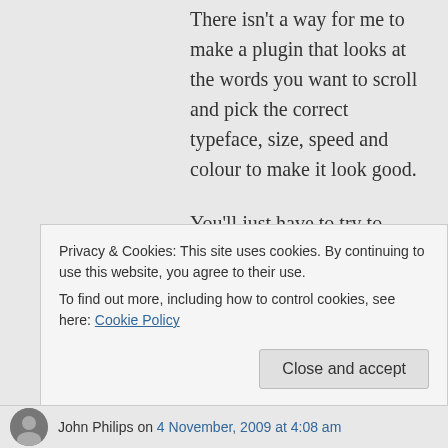There isn't a way for me to make a plugin that looks at the words you want to scroll and pick the correct typeface, size, speed and colour to make it look good.
You'll just have to try to change settings until it works.
If possible, don't work on interlaced timelines – as well as looking bad, it is hard to make small, slow-moving type work on
Privacy & Cookies: This site uses cookies. By continuing to use this website, you agree to their use.
To find out more, including how to control cookies, see here: Cookie Policy
John Philips on 4 November, 2009 at 4:08 am